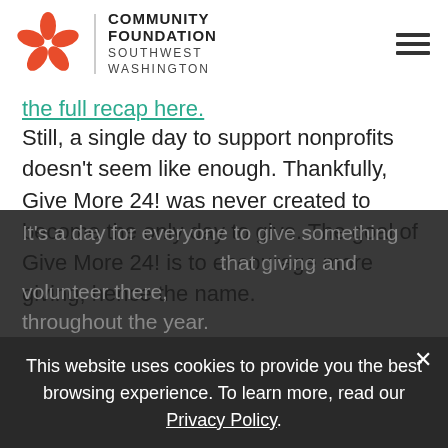[Figure (logo): Community Foundation Southwest Washington logo with orange flower/pinwheel icon and organization name]
the full recap here.
Still, a single day to support nonprofits doesn't seem like enough. Thankfully, Give More 24! was never created to become the only day to give. The goal of Give More 24! is to encourage more giving, hence the name.
It's a day for everyone to give something ... that giving and volunteer there, throughout the year.
This website uses cookies to provide you the best browsing experience. To learn more, read our Privacy Policy.